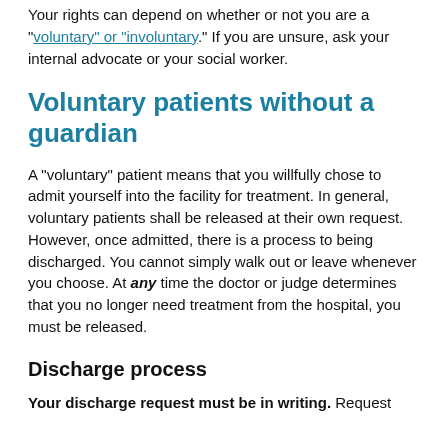Your rights can depend on whether or not you are a “voluntary” or “involuntary.” If you are unsure, ask your internal advocate or your social worker.
Voluntary patients without a guardian
A “voluntary” patient means that you willfully chose to admit yourself into the facility for treatment. In general, voluntary patients shall be released at their own request. However, once admitted, there is a process to being discharged. You cannot simply walk out or leave whenever you choose. At any time the doctor or judge determines that you no longer need treatment from the hospital, you must be released.
Discharge process
Your discharge request must be in writing. Request